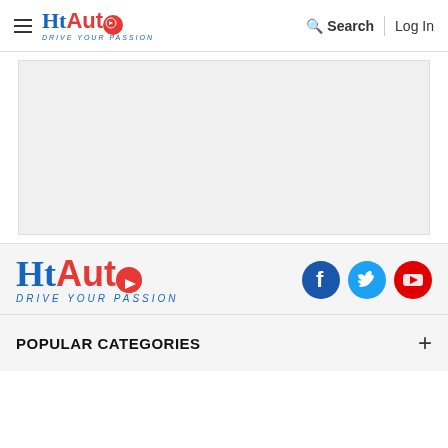HT Auto - DRIVE YOUR PASSION | Search | Log In
[Figure (other): Gray advertisement placeholder rectangle]
[Figure (logo): HT Auto logo large - DRIVE YOUR PASSION with Facebook, Twitter, YouTube social icons]
POPULAR CATEGORIES